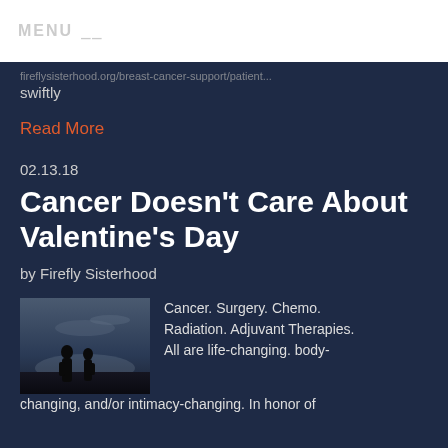MENU
swiftly
Read More
02.13.18
Cancer Doesn't Care About Valentine's Day
by Firefly Sisterhood
[Figure (photo): Silhouette of two people facing each other against a twilight sky background]
Cancer. Surgery. Chemo. Radiation. Adjuvant Therapies. All are life-changing. body-changing, and/or intimacy-changing. In honor of